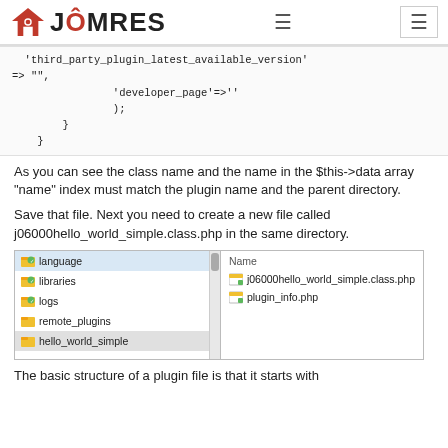JOMRES
'third_party_plugin_latest_available_version' => "",
                'developer_page'=>''
                );
        }
    }
As you can see the class name and the name in the $this->data array "name" index must match the plugin name and the parent directory.
Save that file. Next you need to create a new file called j06000hello_world_simple.class.php in the same directory.
[Figure (screenshot): File explorer screenshot showing folders: language, libraries, logs, remote_plugins, hello_world_simple (selected). File pane shows j06000hello_world_simple.class.php and plugin_info.php]
The basic structure of a plugin file is that it starts with